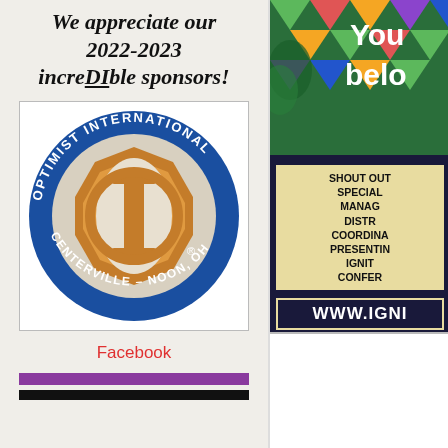We appreciate our 2022-2023 increDIble sponsors!
[Figure (logo): Optimist International Centerville - Noon, OH circular logo with blue ring and gold/orange OI emblem in center]
Facebook
[Figure (photo): Colorful photo with text 'You belong' in white on a geometric/botanical background]
[Figure (infographic): Dark navy background with tan box reading: SHOUT OUT SPECIAL MANAGEMENT DISTRICT COORDINATOR PRESENTING IGNITE CONFERENCE, and white text WWW.IGNI...]